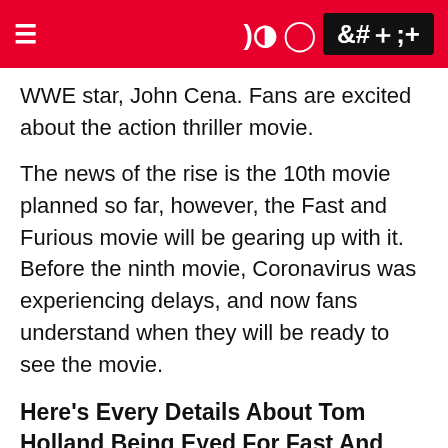≡  ) [user icon]  +
WWE star, John Cena. Fans are excited about the action thriller movie.
The news of the rise is the 10th movie planned so far, however, the Fast and Furious movie will be gearing up with it. Before the ninth movie, Coronavirus was experiencing delays, and now fans understand when they will be ready to see the movie.
Here's Every Details About Tom Holland Being Eyed For Fast And Furious
When Will Fast And Furious With Tom Holland May Release?
When the coronavirus reached the world, everything